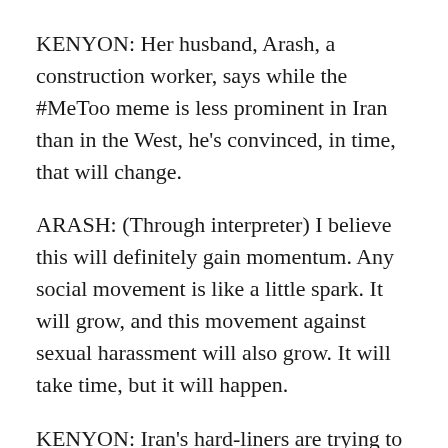KENYON: Her husband, Arash, a construction worker, says while the #MeToo meme is less prominent in Iran than in the West, he's convinced, in time, that will change.
ARASH: (Through interpreter) I believe this will definitely gain momentum. Any social movement is like a little spark. It will grow, and this movement against sexual harassment will also grow. It will take time, but it will happen.
KENYON: Iran's hard-liners are trying to prevent that. In recent months, human rights groups say several women's activists in Iran have been jailed. And the country's leaders continue to claim that Islamic traditions are enough to protect women from abuse. Peter Kenyon, NPR News, Istanbul.